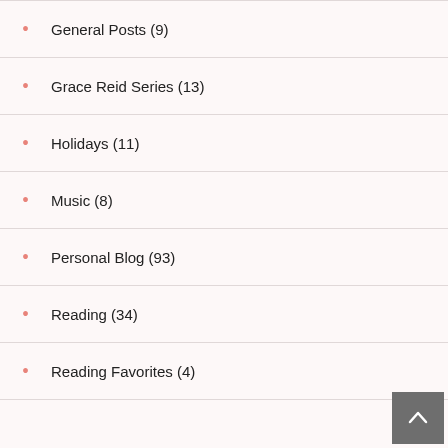General Posts (9)
Grace Reid Series (13)
Holidays (11)
Music (8)
Personal Blog (93)
Reading (34)
Reading Favorites (4)